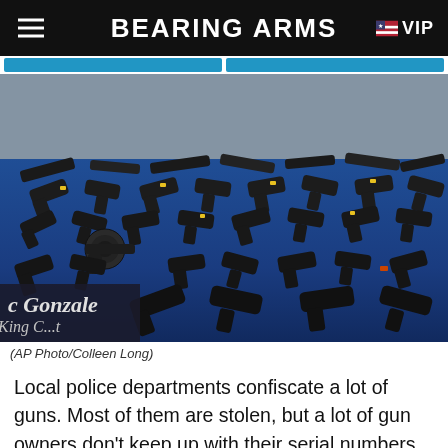BEARING ARMS VIP
[Figure (photo): Dozens of confiscated firearms laid out on a blue-draped table at a police press conference. A podium sign reads 'Gonzalez King County' in the lower left corner. Many handguns and some long guns are visible.]
(AP Photo/Colleen Long)
Local police departments confiscate a lot of guns. Most of them are stolen, but a lot of gun owners don't keep up with their serial numbers and, as such, the police don't realize they've recovered a stolen firearm. In man,